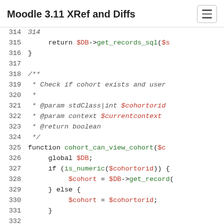Moodle 3.11 XRef and Diffs
[Figure (screenshot): Code viewer showing PHP source lines 314-332 with syntax highlighting. Line 315: return $DB->get_records_sql($s, Line 316: }, Lines 317 blank, Line 318: /**, Line 319: * Check if cohort exists and user, Line 320: *, Line 321: * @param stdClass|int $cohortorid, Line 322: * @param context $currentcontext, Line 323: * @return boolean, Line 324: */, Line 325: function cohort_can_view_cohort($c, Line 326: global $DB;, Line 327: if (is_numeric($cohortorid)) {, Line 328: $cohort = $DB->get_record(, Line 329: } else {, Line 330: $cohort = $cohortorid;, Line 331: }, Line 332 blank]